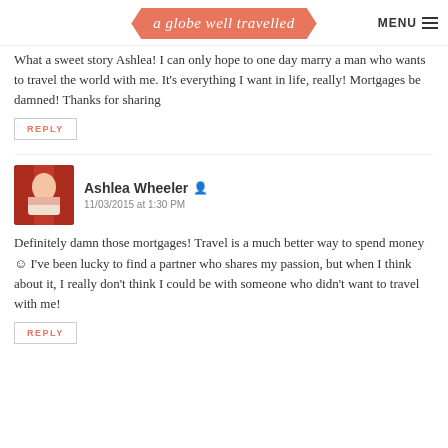a globe well travelled | MENU
What a sweet story Ashlea! I can only hope to one day marry a man who wants to travel the world with me. It's everything I want in life, really! Mortgages be damned! Thanks for sharing
REPLY
Ashlea Wheeler 11/03/2015 at 1:30 PM
Definitely damn those mortgages! Travel is a much better way to spend money © I've been lucky to find a partner who shares my passion, but when I think about it, I really don't think I could be with someone who didn't want to travel with me!
REPLY